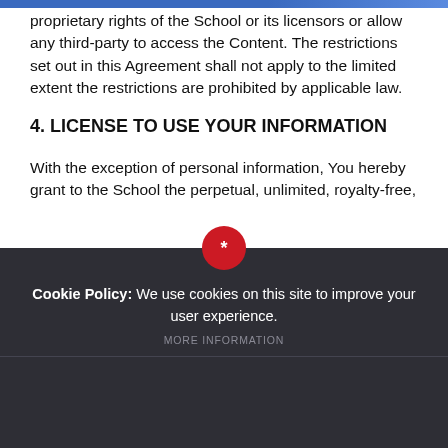proprietary rights of the School or its licensors or allow any third-party to access the Content. The restrictions set out in this Agreement shall not apply to the limited extent the restrictions are prohibited by applicable law.
4. LICENSE TO USE YOUR INFORMATION
With the exception of personal information, You hereby grant to the School the perpetual, unlimited, royalty-free,
Cookie Policy: We use cookies on this site to improve your user experience.
MORE INFORMATION
Deny Cookies   Allow All Cookies
SUBMIT & CLOSE